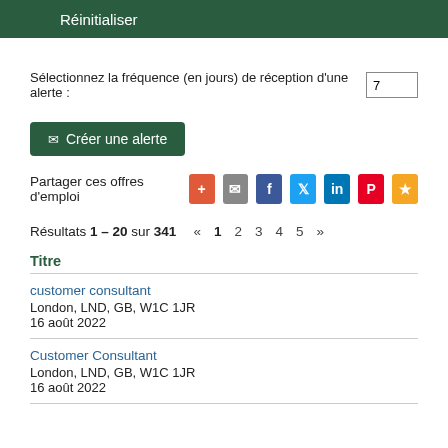Réinitialiser
Sélectionnez la fréquence (en jours) de réception d'une alerte : 7
✉ Créer une alerte
Partager ces offres d'emploi
Résultats 1 – 20 sur 341  «  1  2  3  4  5  »
Titre
customer consultant
London, LND, GB, W1C 1JR
16 août 2022
Customer Consultant
London, LND, GB, W1C 1JR
16 août 2022